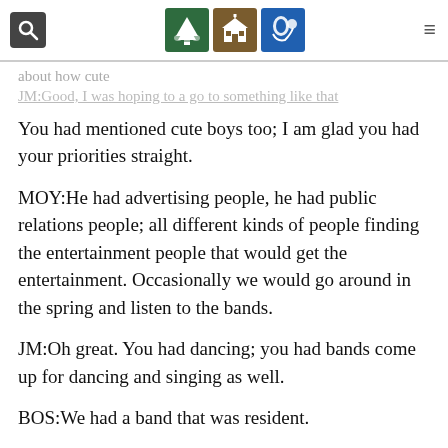[navigation header with search icon, tree icon, school icon, bell icon, hamburger menu]
about how cute [faded] JM:Good, I was hoping to a go to something like that [faded/linked]
You had mentioned cute boys too; I am glad you had your priorities straight.
MOY:He had advertising people, he had public relations people; all different kinds of people finding the entertainment people that would get the entertainment. Occasionally we would go around in the spring and listen to the bands.
JM:Oh great. You had dancing; you had bands come up for dancing and singing as well.
BOS:We had a band that was resident.
5.